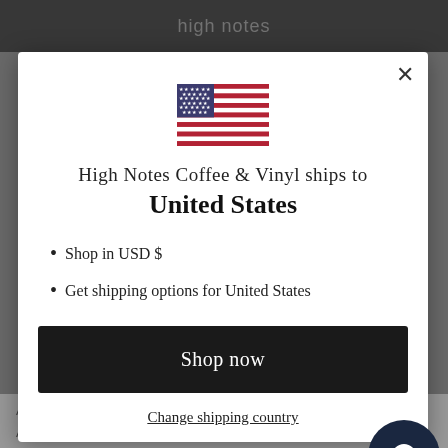high notes
[Figure (illustration): US flag emoji/icon displayed centered in modal]
High Notes Coffee & Vinyl ships to
United States
Shop in USD $
Get shipping options for United States
Shop now
Change shipping country
Alto Saxophone - Ali Shaheed Muhammad
Alto Saxophone - Gary Bartz